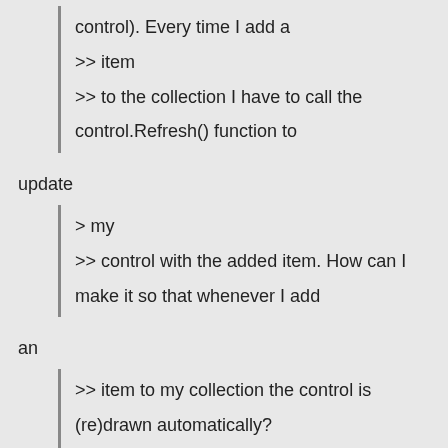control). Every time I add a
>> item
>> to the collection I have to call the control.Refresh() function to
update
> my
>> control with the added item. How can I make it so that whenever I add
an
>> item to my collection the control is (re)drawn automatically?
>>
>> 3. The drawn control flickers when I do